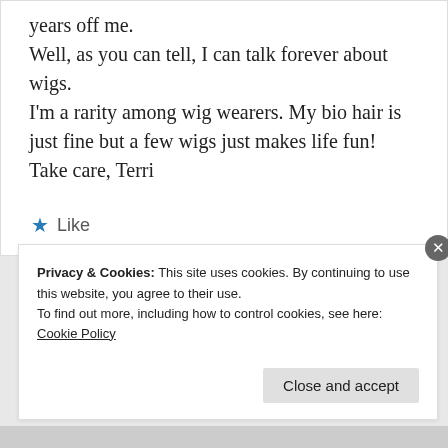years off me.
Well, as you can tell, I can talk forever about wigs.
I'm a rarity among wig wearers. My bio hair is just fine but a few wigs just makes life fun!
Take care, Terri
★ Like
Privacy & Cookies: This site uses cookies. By continuing to use this website, you agree to their use.
To find out more, including how to control cookies, see here: Cookie Policy
Close and accept